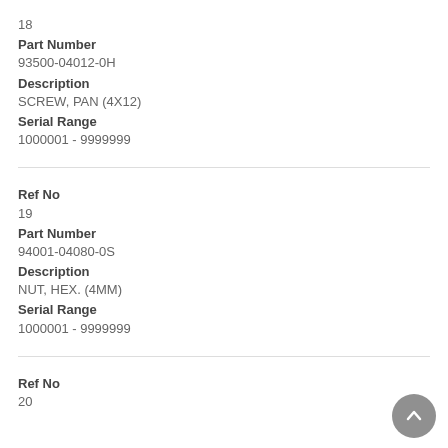18
Part Number
93500-04012-0H
Description
SCREW, PAN (4X12)
Serial Range
1000001 - 9999999
Ref No
19
Part Number
94001-04080-0S
Description
NUT, HEX. (4MM)
Serial Range
1000001 - 9999999
Ref No
20